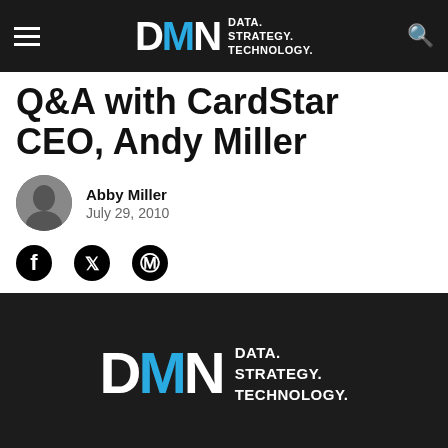DMN DATA. STRATEGY. TECHNOLOGY.
Q&A with CardStar CEO, Andy Miller
Abby Miller
July 29, 2010
[Figure (logo): Social media share icons: Facebook, Twitter, Pinterest]
[Figure (logo): DMN logo on dark background with tagline DATA. STRATEGY. TECHNOLOGY.]